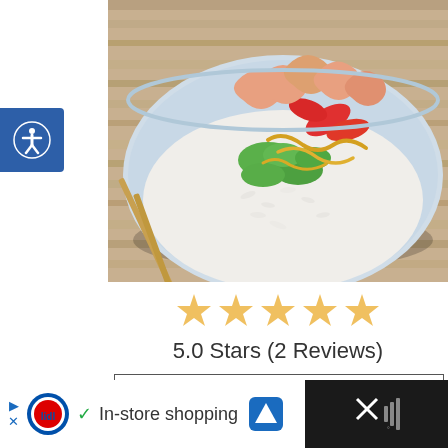[Figure (photo): A blue bowl filled with rice, shrimp, avocado, red peppers, and other vegetables with a drizzle of sauce, with chopsticks on the side on a wooden surface]
[Figure (infographic): Five golden star rating icons]
5.0 Stars (2 Reviews)
PRINT
With a pouch of microwavable steamed rice, and a few simple ingredients, you can make a rice bowl for lunch at work in less than 5 minutes. Feel free to swap out any veggies for what you have available
[Figure (infographic): Lidl advertisement bar at bottom: arrow icons, Lidl logo, checkmark, 'In-store shopping' text, navigation icon, and close button]